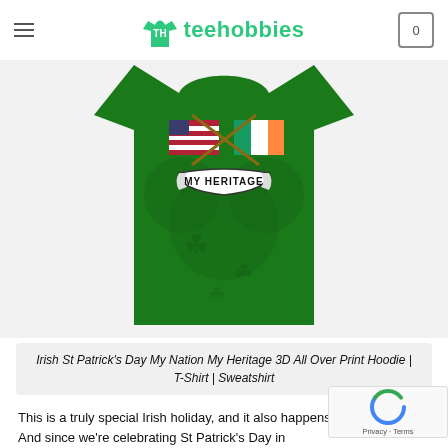teehobbies
[Figure (photo): Green St. Patrick's Day shirt with American and Irish flags, shamrock design, and 'My Heritage' banner text]
Irish St Patrick's Day My Nation My Heritage 3D All Over Print Hoodie | T-Shirt | Sweatshirt
This is a truly special Irish holiday, and it also happens holiday. I love! And since we're celebrating St Patrick's Day in